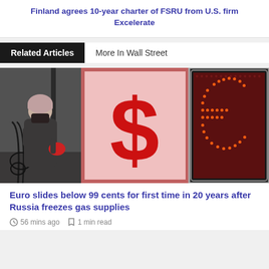Finland agrees 10-year charter of FSRU from U.S. firm Excelerate
Related Articles
More In Wall Street
[Figure (photo): Photo showing a person in a winter coat and beanie hat entering a building, a large red dollar sign currency exchange symbol, and a red LED euro sign display board]
Euro slides below 99 cents for first time in 20 years after Russia freezes gas supplies
56 mins ago
1 min read